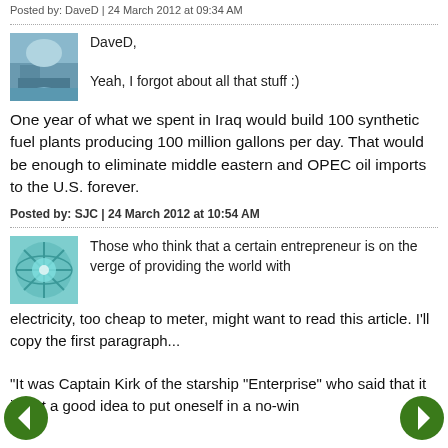Posted by: DaveD | 24 March 2012 at 09:34 AM
DaveD,

Yeah, I forgot about all that stuff :)
One year of what we spent in Iraq would build 100 synthetic fuel plants producing 100 million gallons per day. That would be enough to eliminate middle eastern and OPEC oil imports to the U.S. forever.
Posted by: SJC | 24 March 2012 at 10:54 AM
Those who think that a certain entrepreneur is on the verge of providing the world with electricity, too cheap to meter, might want to read this article. I'll copy the first paragraph...
"It was Captain Kirk of the starship "Enterprise" who said that it is not a good idea to put oneself in a no-win